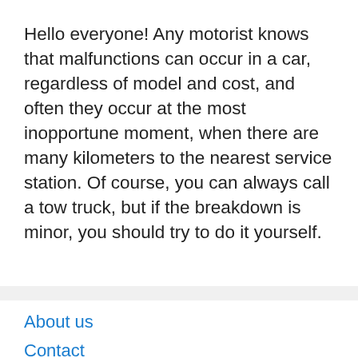Hello everyone! Any motorist knows that malfunctions can occur in a car, regardless of model and cost, and often they occur at the most inopportune moment, when there are many kilometers to the nearest service station. Of course, you can always call a tow truck, but if the breakdown is minor, you should try to do it yourself.
About us
Contact
Privacy Policy & Cookies
ATTENTION TO RIGHT HOLDERS! All materials are posted on the site strictly for